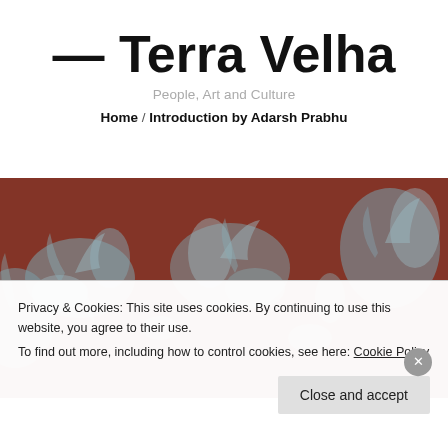— Terra Velha
People, Art and Culture
Home / Introduction by Adarsh Prabhu
[Figure (photo): Textured surface with rust-red/terracotta background and light blue-grey floral or crystalline patterns spread across it, like a fabric or mineral texture]
Privacy & Cookies: This site uses cookies. By continuing to use this website, you agree to their use.
To find out more, including how to control cookies, see here: Cookie Policy
Close and accept